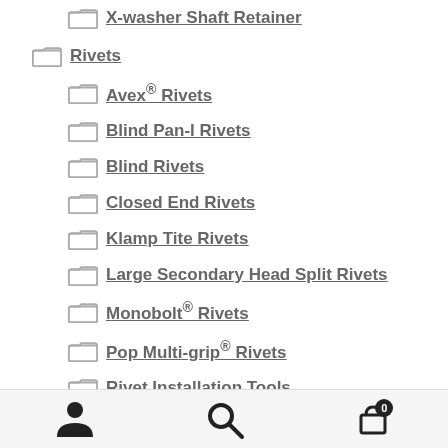X-washer Shaft Retainer
Rivets
Avex® Rivets
Blind Pan-l Rivets
Blind Rivets
Closed End Rivets
Klamp Tite Rivets
Large Secondary Head Split Rivets
Monobolt® Rivets
Pop Multi-grip® Rivets
Rivet Installation Tools
User | Search | Cart (0)